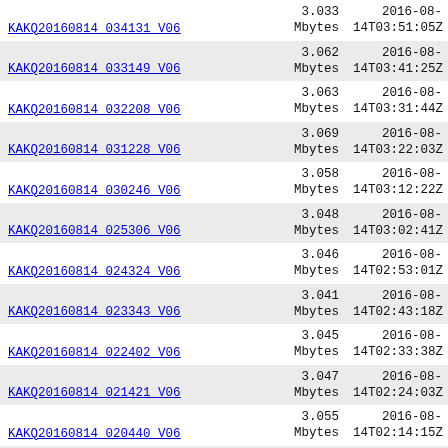| Name | Size | Date |
| --- | --- | --- |
| KAKQ20160814 034131 V06 | 3.033 Mbytes | 2016-08-14T03:51:05Z |
| KAKQ20160814 033149 V06 | 3.062 Mbytes | 2016-08-14T03:41:25Z |
| KAKQ20160814 032208 V06 | 3.063 Mbytes | 2016-08-14T03:31:44Z |
| KAKQ20160814 031228 V06 | 3.069 Mbytes | 2016-08-14T03:22:03Z |
| KAKQ20160814 030246 V06 | 3.058 Mbytes | 2016-08-14T03:12:22Z |
| KAKQ20160814 025306 V06 | 3.048 Mbytes | 2016-08-14T03:02:41Z |
| KAKQ20160814 024324 V06 | 3.046 Mbytes | 2016-08-14T02:53:01Z |
| KAKQ20160814 023343 V06 | 3.041 Mbytes | 2016-08-14T02:43:18Z |
| KAKQ20160814 022402 V06 | 3.045 Mbytes | 2016-08-14T02:33:38Z |
| KAKQ20160814 021421 V06 | 3.047 Mbytes | 2016-08-14T02:24:03Z |
| KAKQ20160814 020440 V06 | 3.055 Mbytes | 2016-08-14T02:14:15Z |
| (partial) | 3.048 Mbytes | 2016-08- |